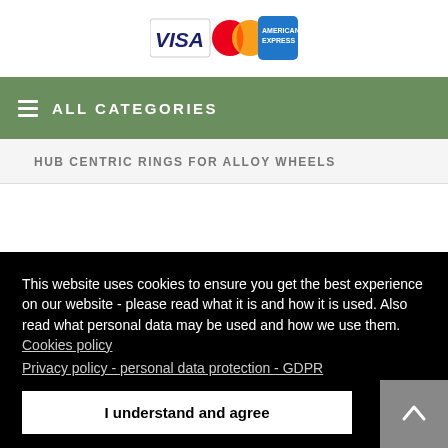[Figure (logo): Payment card logos: Visa, Mastercard, American Express]
ALL CATEGORIES
HUB CENTRIC RINGS FOR ALLOY WHEELS
This website uses cookies to ensure you get the best experience on our website - please read what it is and how it is used. Also read what personal data may be used and how we use them. Cookies policy
Privacy policy - personal data protection - GDPR
I understand and agree